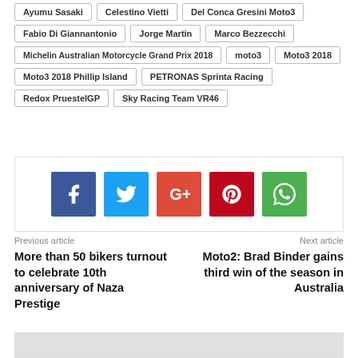Ayumu Sasaki
Celestino Vietti
Del Conca Gresini Moto3
Fabio Di Giannantonio
Jorge Martin
Marco Bezzecchi
Michelin Australian Motorcycle Grand Prix 2018
moto3
Moto3 2018
Moto3 2018 Phillip Island
PETRONAS Sprinta Racing
Redox PruestelGP
Sky Racing Team VR46
[Figure (infographic): Social sharing buttons: Facebook, Twitter, Google+, Pinterest, WhatsApp]
Previous article
More than 50 bikers turnout to celebrate 10th anniversary of Naza Prestige
Next article
Moto2: Brad Binder gains third win of the season in Australia